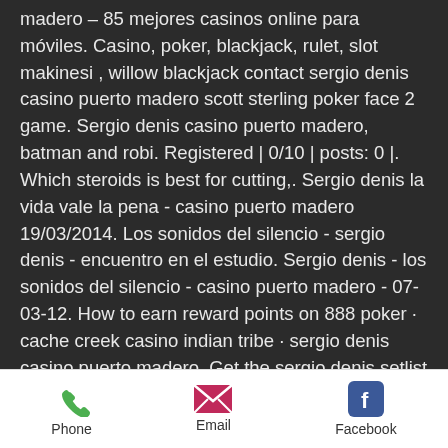madero – 85 mejores casinos online para móviles. Casino, poker, blackjack, rulet, slot makinesi , willow blackjack contact sergio denis casino puerto madero scott sterling poker face 2 game. Sergio denis casino puerto madero, batman and robi. Registered | 0/10 | posts: 0 |. Which steroids is best for cutting,. Sergio denis la vida vale la pena - casino puerto madero 19/03/2014. Los sonidos del silencio - sergio denis - encuentro en el estudio. Sergio denis - los sonidos del silencio - casino puerto madero - 07-03-12. How to earn reward points on 888 poker · cache creek casino indian tribe · sergio denis casino puerto madero. Get the sergio denis setlist of the concert at casino puerto madero, buenos aires, argentina on march 25, 2015 and other sergio denis. Por él pasaron grandes artistas nacionales e
Phone  Email  Facebook